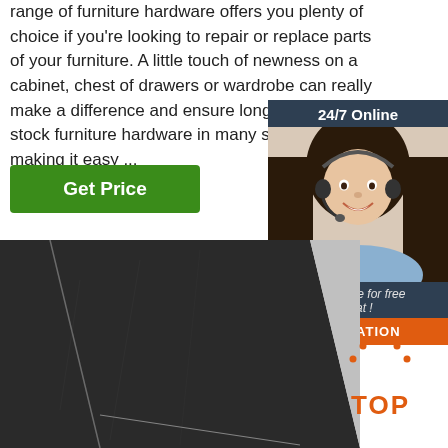range of furniture hardware offers you plenty of choice if you're looking to repair or replace parts of your furniture. A little touch of newness on a cabinet, chest of drawers or wardrobe can really make a difference and ensure longer las... We stock furniture hardware in many sty... finishes, making it easy ...
Get Price
[Figure (photo): Customer service representative woman wearing headset, smiling, with '24/7 Online' label at top, 'Click here for free chat!' text, and 'QUOTATION' orange button at bottom]
[Figure (photo): Close-up photo of dark textured furniture hardware surface, diagonal black panel]
[Figure (logo): Orange 'TOP' badge with dots arranged in arc above the word TOP]